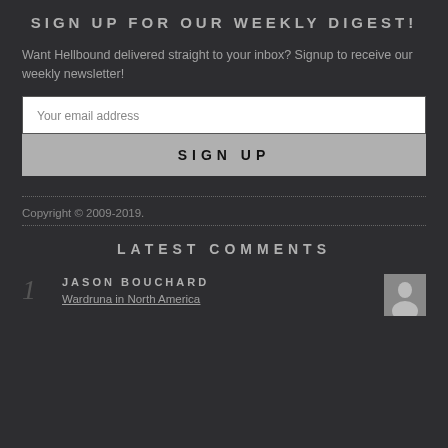SIGN UP FOR OUR WEEKLY DIGEST!
Want Hellbound delivered straight to your inbox? Signup to receive our weekly newsletter!
[Figure (other): Email input field with placeholder text 'Your email address']
[Figure (other): Sign Up button]
Copyright © 2009-2019.
LATEST COMMENTS
JASON BOUCHARD
Wardruna in North America